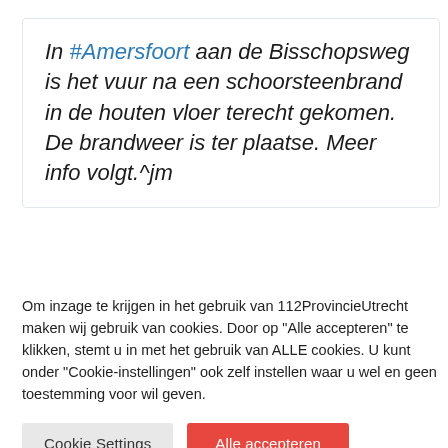In #Amersfoort aan de Bisschopsweg is het vuur na een schoorsteenbrand in de houten vloer terecht gekomen. De brandweer is ter plaatse. Meer info volgt.^jm
Om inzage te krijgen in het gebruik van 112ProvincieUtrecht maken wij gebruik van cookies. Door op "Alle accepteren" te klikken, stemt u in met het gebruik van ALLE cookies. U kunt onder "Cookie-instellingen" ook zelf instellen waar u wel en geen toestemming voor wil geven.